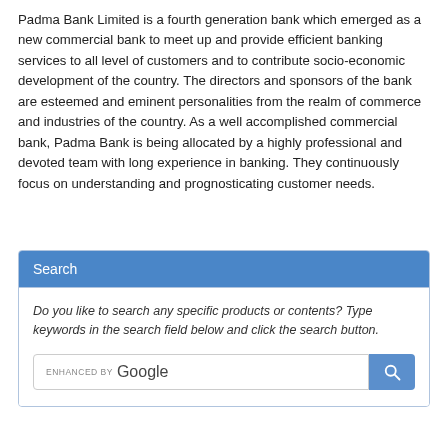Padma Bank Limited is a fourth generation bank which emerged as a new commercial bank to meet up and provide efficient banking services to all level of customers and to contribute socio-economic development of the country. The directors and sponsors of the bank are esteemed and eminent personalities from the realm of commerce and industries of the country. As a well accomplished commercial bank, Padma Bank is being allocated by a highly professional and devoted team with long experience in banking. They continuously focus on understanding and prognosticating customer needs.
Search
Do you like to search any specific products or contents? Type keywords in the search field below and click the search button.